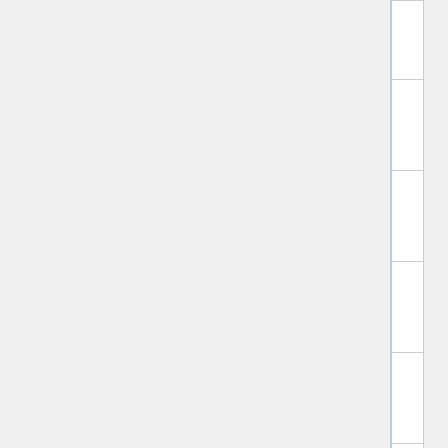| Board | Date | Site |
| --- | --- | --- |
| (truncated top row) | 22 | yuki.la (???) |
| /li/ - Oekaki | 2013-08-01 | yuki.la (???) |
| /lic/ - Artwork/Critique | 2015-10-21 | yuki.la (???) |
| /int/ - International | 2013-01-10 | yuki.la (???) |
| /jp/ - Otaku Culture | 2008-02-20 | yuki.la (???) |
| /k/ - Weapons | 2012-07-16 | yuki.la (???) |
| /lgbt/ - LGBT | 2015-10-23 | yuki.la (???) |
| /lit/ - Literature | 2015-10-24 | yuki.la (???) |
| /m/ - Mecha | 2009-03-29 | yuki.la (???) |
| (partial bottom row) | 2012-04- | yuki.la |